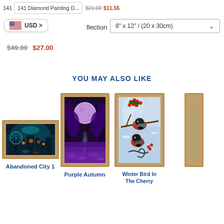flection | 8" x 12" / (20 x 30cm)
USD >
$49.00  $27.00
YOU MAY ALSO LIKE
[Figure (photo): Framed product image: Abandoned City 1 - fantasy cityscape with colorful lights]
Abandoned City 1
[Figure (photo): Framed product image: Purple Autumn - purple forest road with full moon]
Purple Autumn
[Figure (photo): Framed product image: Winter Bird In The Cherry - two red-breasted birds on snowy cherry branch]
Winter Bird In The Cherry